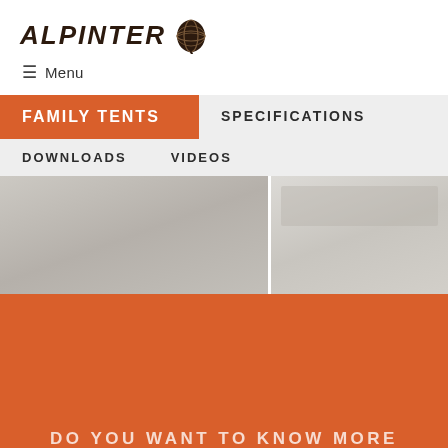ALPINTER
≡ Menu
FAMILY TENTS
SPECIFICATIONS
DOWNLOADS
VIDEOS
[Figure (photo): Two product images side by side showing tents or outdoor gear]
DO YOU WANT TO KNOW MORE ABOUT